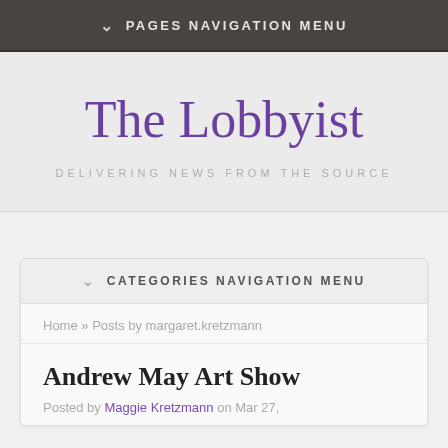PAGES NAVIGATION MENU
The Lobbyist
DELIVERING NEWS FROM THE SOURCE
CATEGORIES NAVIGATION MENU
Home » Posts by margaret.kretzmann
Andrew May Art Show
Posted by Maggie Kretzmann on Mar 27,